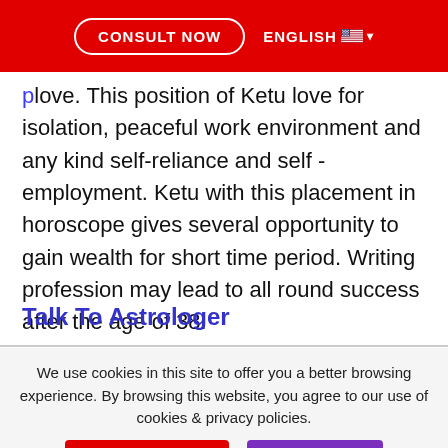CONSULT NOW  ENGLISH
love. This position of Ketu love for isolation, peaceful work environment and any kind self-reliance and self -employment. Ketu with this placement in horoscope gives several opportunity to gain wealth for short time period. Writing profession may lead to all round success after the age of 38.
Talk To Astrologer
We use cookies in this site to offer you a better browsing experience. By browsing this website, you agree to our use of cookies & privacy policies.
MORE INFO  ACCEPT